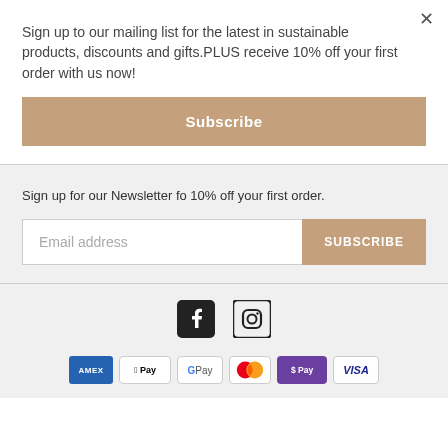Sign up to our mailing list for the latest in sustainable products, discounts and gifts.PLUS receive 10% off your first order with us now!
Subscribe
Sign up for our Newsletter fo 10% off your first order.
Email address
SUBSCRIBE
[Figure (illustration): Facebook and Instagram social media icons]
[Figure (illustration): Payment method icons: Amex, Apple Pay, Google Pay, Mastercard, OPay, Visa]